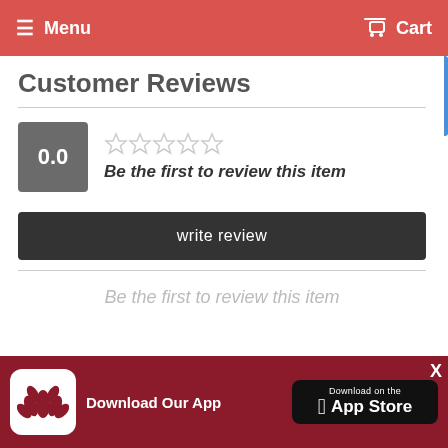Menu   Cart
Customer Reviews
0.0  ☆☆☆☆☆  Be the first to review this item
write review
Be the first to review this item
[Figure (screenshot): App download banner with logo, 'Download Our App' text, and App Store button]
Download Our App
Download on the App Store
X